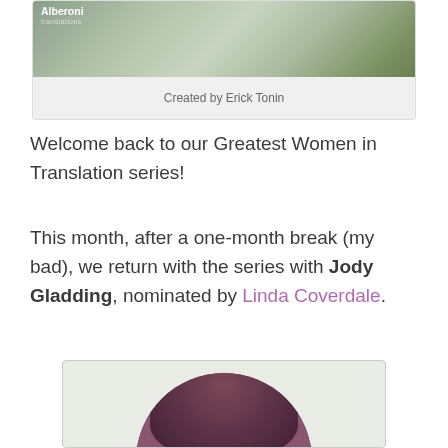[Figure (photo): Header card with Alberoni Translations logo and background image of books/shelves]
Created by Erick Tonin
Welcome back to our Greatest Women in Translation series!
This month, after a one-month break (my bad), we return with the series with Jody Gladding, nominated by Linda Coverdale.
[Figure (photo): Circular portrait photo of Jody Gladding with purple/mauve tint on light grey background]